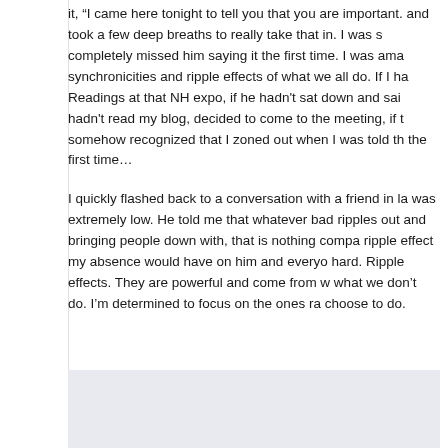it, “I came here tonight to tell you that you are important. and took a few deep breaths to really take that in. I was s completely missed him saying it the first time. I was ama synchronicities and ripple effects of what we all do. If I ha Readings at that NH expo, if he hadn’t sat down and sai hadn’t read my blog, decided to come to the meeting, if t somehow recognized that I zoned out when I was told th the first time…
I quickly flashed back to a conversation with a friend in la was extremely low. He told me that whatever bad ripples out and bringing people down with, that is nothing compa ripple effect my absence would have on him and everyo hard. Ripple effects. They are powerful and come from w what we don’t do. I’m determined to focus on the ones ra choose to do.
[Figure (photo): Light blue/grey image area at the bottom of the page]